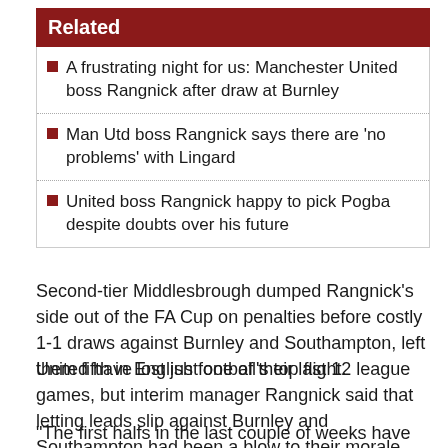Related
A frustrating night for us: Manchester United boss Rangnick after draw at Burnley
Man Utd boss Rangnick says there are 'no problems' with Lingard
United boss Rangnick happy to pick Pogba despite doubts over his future
Second-tier Middlesbrough dumped Rangnick's side out of the FA Cup on penalties before costly 1-1 draws against Burnley and Southampton, left them fifth in English football's top flight.
United have lost just one of their last 12 league games, but interim manager Rangnick said that letting leads slip against Burnley and Southampton had been a blow to their morale.
"The first halfs in the last couple of weeks have been really